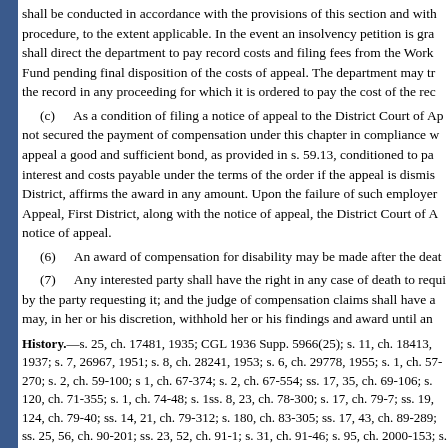shall be conducted in accordance with the provisions of this section and with procedure, to the extent applicable. In the event an insolvency petition is gran shall direct the department to pay record costs and filing fees from the Worke Fund pending final disposition of the costs of appeal. The department may tr the record in any proceeding for which it is ordered to pay the cost of the rec
(c) As a condition of filing a notice of appeal to the District Court of Ap not secured the payment of compensation under this chapter in compliance w appeal a good and sufficient bond, as provided in s. 59.13, conditioned to pay interest and costs payable under the terms of the order if the appeal is dismis District, affirms the award in any amount. Upon the failure of such employer Appeal, First District, along with the notice of appeal, the District Court of A notice of appeal.
(6) An award of compensation for disability may be made after the deat
(7) Any interested party shall have the right in any case of death to requi by the party requesting it; and the judge of compensation claims shall have a may, in her or his discretion, withhold her or his findings and award until an
History.—s. 25, ch. 17481, 1935; CGL 1936 Supp. 5966(25); s. 11, ch. 18413, 1937; s. 7, 26967, 1951; s. 8, ch. 28241, 1953; s. 6, ch. 29778, 1955; s. 1, ch. 57-270; s. 2, ch. 59-100; s 1, ch. 67-374; s. 2, ch. 67-554; ss. 17, 35, ch. 69-106; s. 120, ch. 71-355; s. 1, ch. 74-48; s. 1 ss. 8, 23, ch. 78-300; s. 17, ch. 79-7; ss. 19, 124, ch. 79-40; ss. 14, 21, ch. 79-312; s. 180, ch. 83-305; ss. 17, 43, ch. 89-289; ss. 25, 56, ch. 90-201; ss. 23, 52, ch. 91-1; s. 31, ch. 91-46; s. 95, ch. 2000-153; s. 19, ch. 2001-91; s. 37, ch. 2002-194; s. 12, ch. 2002-236; s. 25, ch. 2003